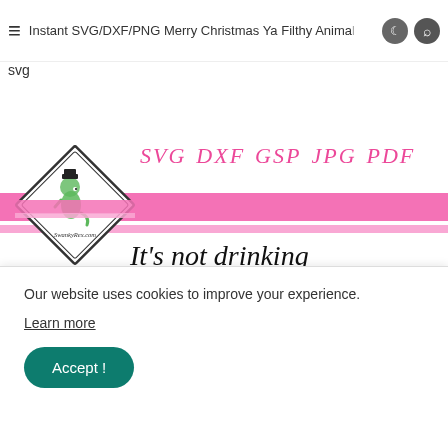Instant SVG/DXF/PNG Merry Christmas Ya Filthy Animal
svg
[Figure (illustration): SwankyRex.com brand logo in a diamond shape with a cartoon T-Rex wearing a top hat, alongside format labels SVG DXF GSP JPG PDF in pink italic text, and pink horizontal stripes. Below shows product design text: It's not drinking ALONE if the [dog/cat], with silhouette bottle icons.]
Our website uses cookies to improve your experience.
Learn more
Accept !